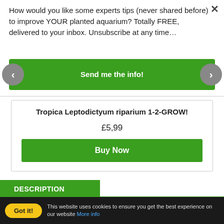How would you like some experts tips (never shared before) to improve YOUR planted aquarium? Totally FREE, delivered to your inbox. Unsubscribe at any time…
Send me the info!
Tropica Leptodictyum riparium 1-2-GROW!
£5,99
Buy Now
DESCRIPTION
Got it!
This website uses cookies to ensure you get the best experience on our website More info